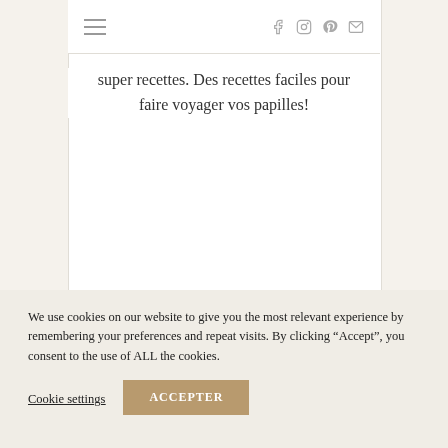Navigation bar with hamburger menu and social icons (Facebook, Instagram, Pinterest, Email)
super recettes. Des recettes faciles pour faire voyager vos papilles!
We use cookies on our website to give you the most relevant experience by remembering your preferences and repeat visits. By clicking "Accept", you consent to the use of ALL the cookies.
Cookie settings | ACCEPTER